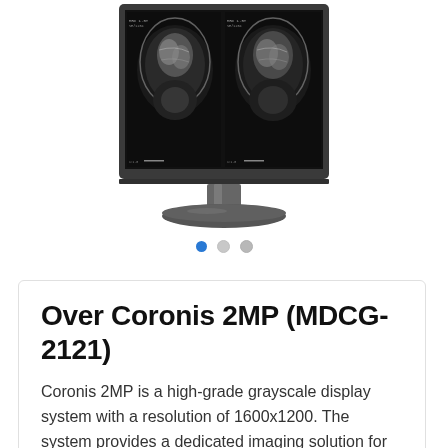[Figure (photo): Medical grayscale display monitor (Coronis 2MP MDCG-2121) showing two brain MRI coronal images side by side on screen, with a gray stand and base. Below the monitor are three navigation dots: one filled blue (active) and two gray.]
Over Coronis 2MP (MDCG-2121)
Coronis 2MP is a high-grade grayscale display system with a resolution of 1600x1200. The system provides a dedicated imaging solution for PACS, CT, MRI, angiography, ultrasound and orthopedic